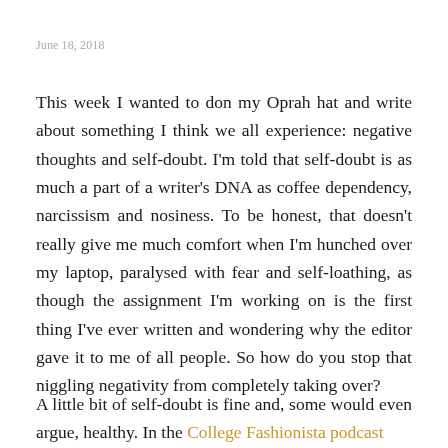June 18, 2018
This week I wanted to don my Oprah hat and write about something I think we all experience: negative thoughts and self-doubt. I'm told that self-doubt is as much a part of a writer's DNA as coffee dependency, narcissism and nosiness. To be honest, that doesn't really give me much comfort when I'm hunched over my laptop, paralysed with fear and self-loathing, as though the assignment I'm working on is the first thing I've ever written and wondering why the editor gave it to me of all people. So how do you stop that niggling negativity from completely taking over?
A little bit of self-doubt is fine and, some would even argue, healthy. In the College Fashionista podcast